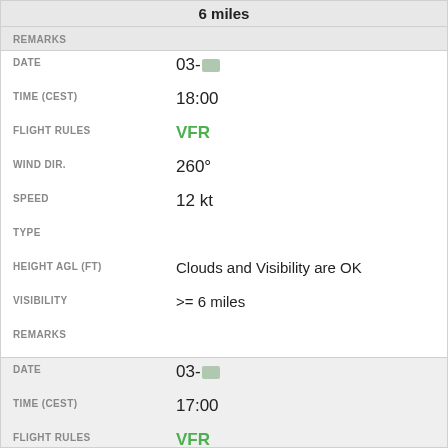| Field | Value |
| --- | --- |
|  | 6 miles (header/partial) |
| REMARKS |  |
| DATE | 03-[redacted] |
| TIME (CEST) | 18:00 |
| FLIGHT RULES | VFR |
| WIND DIR. | 260° |
| SPEED | 12 kt |
| TYPE |  |
| HEIGHT AGL (FT) | Clouds and Visibility are OK |
| VISIBILITY | >= 6 miles |
| REMARKS |  |
| DATE | 03-[redacted] |
| TIME (CEST) | 17:00 |
| FLIGHT RULES | VFR |
| WIND DIR. | 260° |
| SPEED | 12 kt |
| TYPE |  |
| HEIGHT AGL (FT) | Clouds and Visibility are OK |
| VISIBILITY | >= 6 miles |
| REMARKS |  |
| DATE | 03-[redacted] |